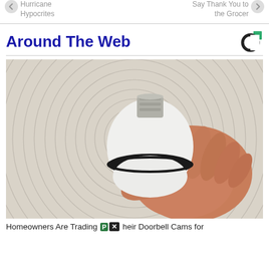Hurricane Hypocrites | Say Thank You to the Grocer
Around The Web
[Figure (photo): A hand holding a white light bulb-shaped security camera against a circular patterned background. The bottom of the bulb reveals a camera lens where the filament would normally be.]
Homeowners Are Trading their Doorbell Cams for